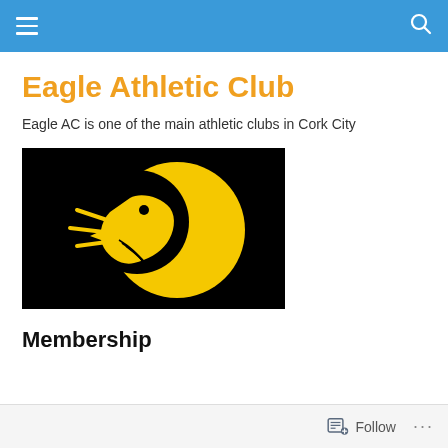Navigation bar with hamburger menu and search icon
Eagle Athletic Club
Eagle AC is one of the main athletic clubs in Cork City
[Figure (logo): Eagle Athletic Club logo: yellow eagle silhouette on black background, circular design with motion lines]
Membership
Follow ...